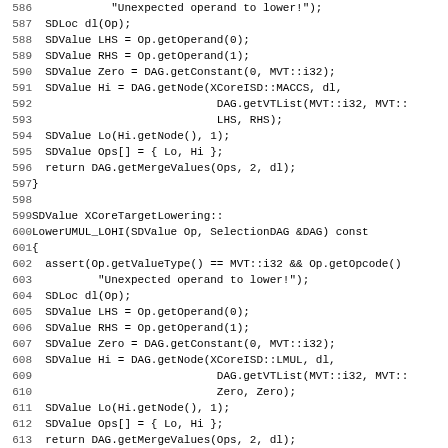Code listing lines 586-617 showing C++ source code for XCoreTargetLowering functions LowerSMUL_LOHI and LowerUMUL_LOHI